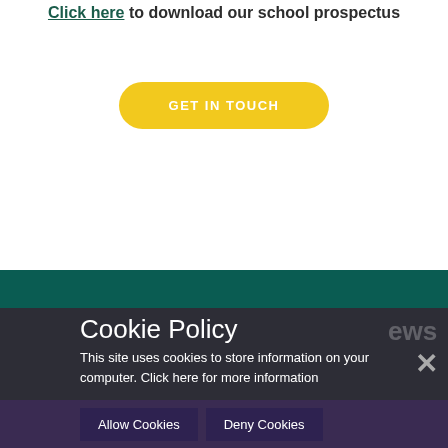Click here to download our school prospectus
GET IN TOUCH
Cookie Policy
This site uses cookies to store information on your computer. Click here for more information
Allow Cookies
Deny Cookies